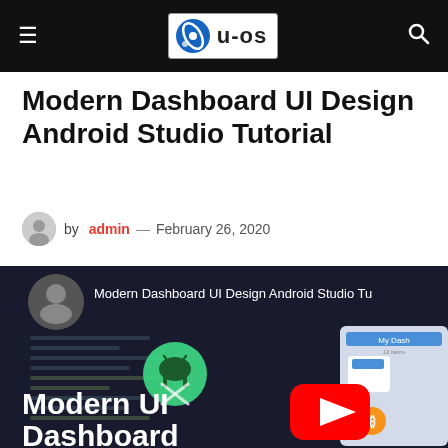u-os
Modern Dashboard UI Design Android Studio Tutorial
by admin — February 26, 2020
[Figure (screenshot): YouTube video thumbnail for 'Modern Dashboard UI Design Android Studio Tutorial' showing Android Studio logo, channel avatar, video title, YouTube play button, and partial app UI preview. Overlay text reads 'Modern UI Dashboard'.]